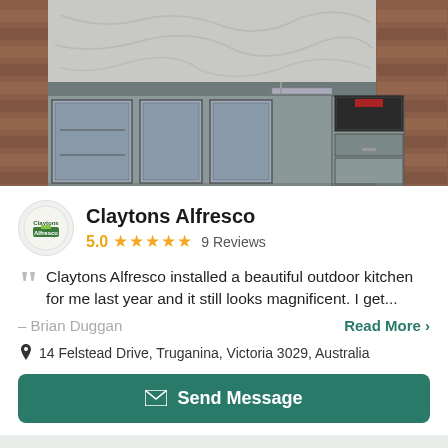[Figure (photo): Outdoor kitchen with grey steel cabinets, built-in BBQ grill, sink, and beverage fridge against a brick wall with marble tile backsplash]
Claytons Alfresco
5.0 ★★★★★ 9 Reviews
Claytons Alfresco installed a beautiful outdoor kitchen for me last year and it still looks magnificent. I get...
– Brian Duggan
Read More >
14 Felstead Drive, Truganina, Victoria 3029, Australia
Send Message